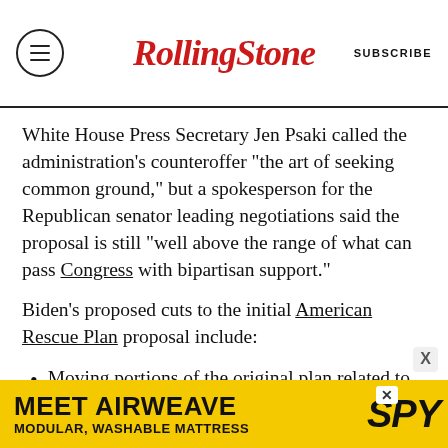Rolling Stone | SUBSCRIBE
White House Press Secretary Jen Psaki called the administration's counteroffer “the art of seeking common ground,” but a spokesperson for the Republican senator leading negotiations said the proposal is still “well above the range of what can pass Congress with bipartisan support.”
Biden’s proposed cuts to the initial American Rescue Plan proposal include:
Moving portions of the original plan related to small businesses, innovation, manufacturing and research and development into other pieces of pending legislation.
[Figure (other): Advertisement banner: MEET AIRWEAVE - MODULAR, WASHABLE MATTRESS with SPY logo on yellow background]